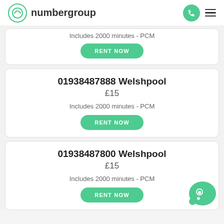numbergroup
Includes 2000 minutes - PCM
RENT NOW
01938487888 Welshpool
£15
Includes 2000 minutes - PCM
RENT NOW
01938487800 Welshpool
£15
Includes 2000 minutes - PCM
RENT NOW